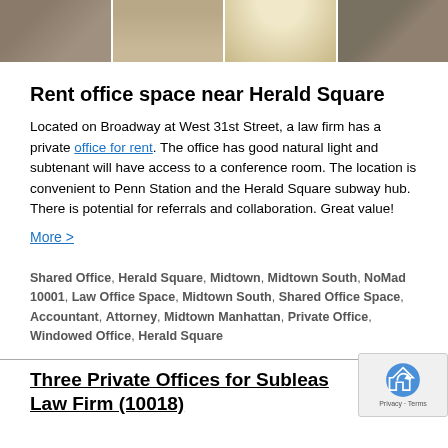[Figure (photo): Strip of interior room photos showing furniture and lighting]
Rent office space near Herald Square
Located on Broadway at West 31st Street, a law firm has a private office for rent. The office has good natural light and subtenant will have access to a conference room. The location is convenient to Penn Station and the Herald Square subway hub. There is potential for referrals and collaboration. Great value!
More >
Shared Office, Herald Square, Midtown, Midtown South, NoMad 10001, Law Office Space, Midtown South, Shared Office Space, Accountant, Attorney, Midtown Manhattan, Private Office, Windowed Office, Herald Square
Three Private Offices for Sublease Law Firm (10018)